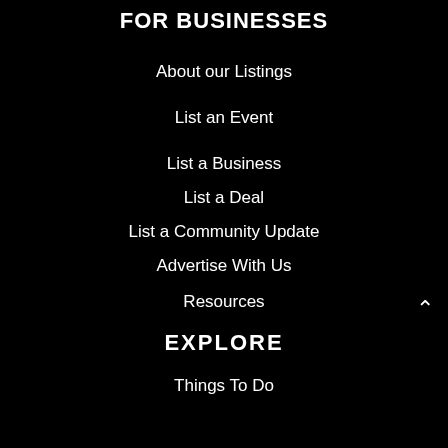FOR BUSINESSES
About our Listings
List an Event
List a Business
List a Deal
List a Community Update
Advertise With Us
Resources
EXPLORE
Things To Do